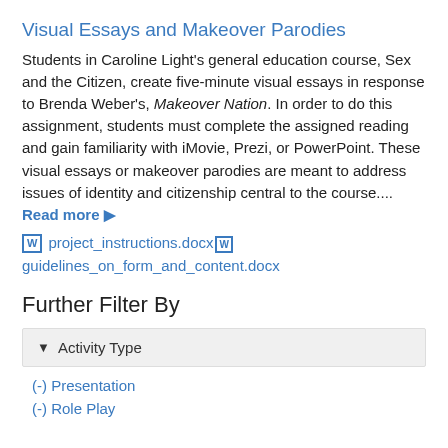Visual Essays and Makeover Parodies
Students in Caroline Light's general education course, Sex and the Citizen, create five-minute visual essays in response to Brenda Weber's, Makeover Nation. In order to do this assignment, students must complete the assigned reading and gain familiarity with iMovie, Prezi, or PowerPoint. These visual essays or makeover parodies are meant to address issues of identity and citizenship central to the course.... Read more ▶
project_instructions.docx
guidelines_on_form_and_content.docx
Further Filter By
▼ Activity Type
(-) Presentation
(-) Role Play